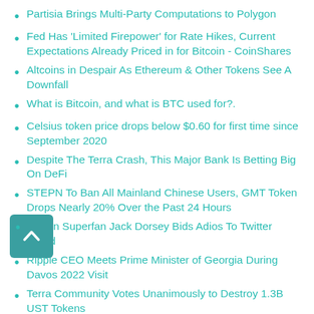Partisia Brings Multi-Party Computations to Polygon
Fed Has 'Limited Firepower' for Rate Hikes, Current Expectations Already Priced in for Bitcoin - CoinShares
Altcoins in Despair As Ethereum & Other Tokens See A Downfall
What is Bitcoin, and what is BTC used for?.
Celsius token price drops below $0.60 for first time since September 2020
Despite The Terra Crash, This Major Bank Is Betting Big On DeFi
STEPN To Ban All Mainland Chinese Users, GMT Token Drops Nearly 20% Over the Past 24 Hours
Bitcoin Superfan Jack Dorsey Bids Adios To Twitter Board
Ripple CEO Meets Prime Minister of Georgia During Davos 2022 Visit
Terra Community Votes Unanimously to Destroy 1.3B UST Tokens
JPMorgan Trials Blockchain For Collateral Settlements, Possible DeFi Bridge
SKL Technical Analysis: Selling Spree Fastens Within Falling Channel
Let’s Dissect McCormack’s “Follow The Money #1” Documentary, Pt. 3- Bukele
Two big staking companies won’t support Terra’s new